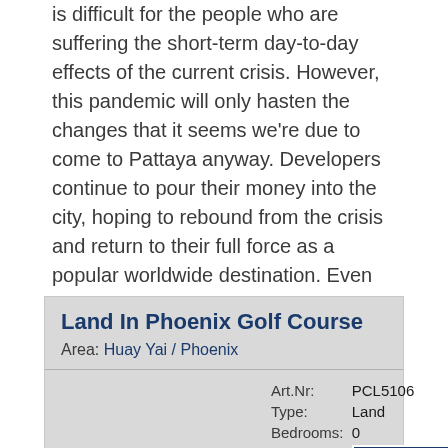is difficult for the people who are suffering the short-term day-to-day effects of the current crisis. However, this pandemic will only hasten the changes that it seems we're due to come to Pattaya anyway. Developers continue to pour their money into the city, hoping to rebound from the crisis and return to their full force as a popular worldwide destination. Even now, as you travel along Jomtien Beach, throughout both Pratumnak and Cosy Beach, or in the other direction stretching as far up as Wongamat, you can see large residential projects under construction, changing the skyline of Pattaya.
| Land In Phoenix Golf Course |  |
| Area: Huay Yai / Phoenix |  |
| Art.Nr: | PCL5106 |
| Type: | Land |
| Bedrooms: | 0 |
| Bathrooms: | BACK TO TOP |